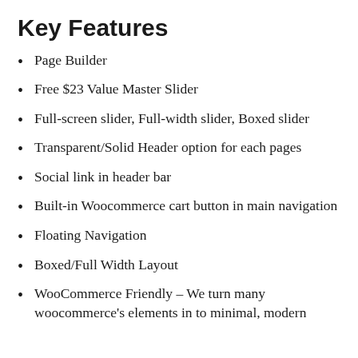Key Features
Page Builder
Free $23 Value Master Slider
Full-screen slider, Full-width slider, Boxed slider
Transparent/Solid Header option for each pages
Social link in header bar
Built-in Woocommerce cart button in main navigation
Floating Navigation
Boxed/Full Width Layout
WooCommerce Friendly – We turn many woocommerce's elements in to minimal, modern